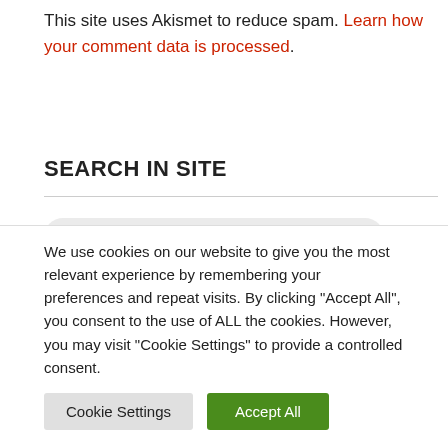This site uses Akismet to reduce spam. Learn how your comment data is processed.
SEARCH IN SITE
[Figure (other): Search box with magnifying glass icon and placeholder text 'Search...']
SEE MORE!
We use cookies on our website to give you the most relevant experience by remembering your preferences and repeat visits. By clicking "Accept All", you consent to the use of ALL the cookies. However, you may visit "Cookie Settings" to provide a controlled consent.
Cookie Settings | Accept All